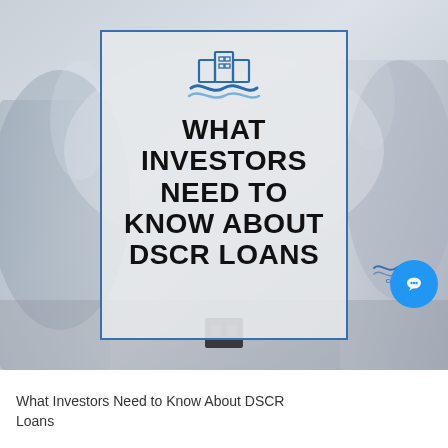[Figure (illustration): Background photo of office meeting scene with blurred people, overlaid with a semi-transparent card box containing a building/wave logo and bold title text 'WHAT INVESTORS NEED TO KNOW ABOUT DSCR LOANS', bordered in blue. A small Coastal logo appears at bottom right of the photo area, and a blue circular chat button icon is at the bottom right.]
What Investors Need to Know About DSCR Loans